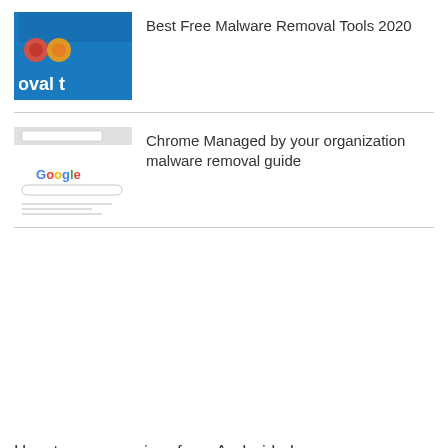[Figure (screenshot): Thumbnail showing blue background with malware removal tools icons and partial text 'oval t']
Best Free Malware Removal Tools 2020
[Figure (screenshot): Thumbnail showing Chrome browser with Google search page and 'Managed by your organization' interface]
Chrome Managed by your organization malware removal guide
How to remove virus from Android phone